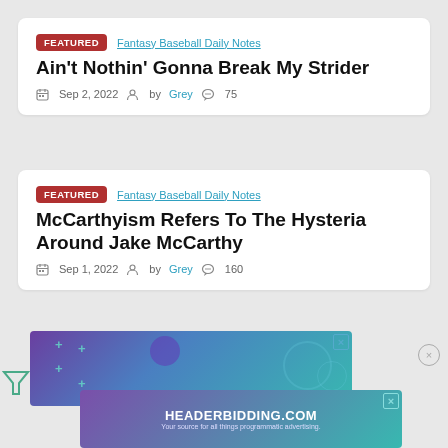Ain't Nothin' Gonna Break My Strider
FEATURED | Fantasy Baseball Daily Notes | Sep 2, 2022 | by Grey | 75 comments
McCarthyism Refers To The Hysteria Around Jake McCarthy
FEATURED | Fantasy Baseball Daily Notes | Sep 1, 2022 | by Grey | 160 comments
[Figure (infographic): HEADERBIDDING.COM advertisement banner - Your source for all things programmatic advertising. Purple/teal gradient background with decorative circles and plus signs. Close buttons visible.]